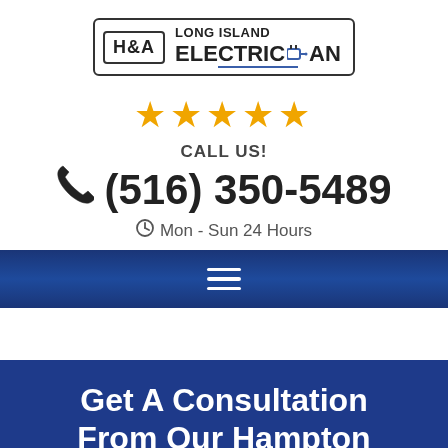[Figure (logo): H&A Long Island Electrician logo with plug icon]
[Figure (infographic): Five gold star rating icons]
CALL US!
(516) 350-5489
Mon - Sun 24 Hours
[Figure (infographic): Navy blue navigation bar with hamburger menu icon]
Get A Consultation From Our Hampton Bays NY Electricians